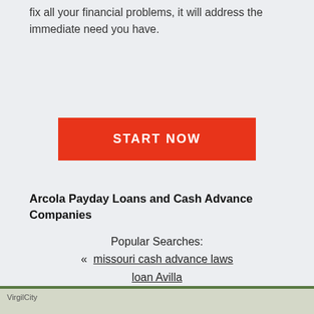fix all your financial problems, it will address the immediate need you have.
[Figure (other): Red 'START NOW' call-to-action button]
Arcola Payday Loans and Cash Advance Companies
Popular Searches:
« missouri cash advance laws loan Avilla Barnard payday loan cash loan Bosworth »
[Figure (map): Partial map strip showing VirgilCity area at bottom of page]